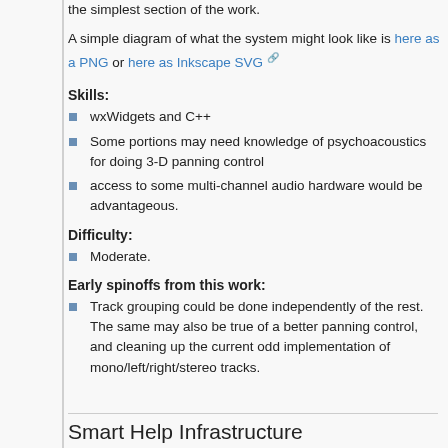the simplest section of the work.
A simple diagram of what the system might look like is here as a PNG or here as Inkscape SVG
Skills:
wxWidgets and C++
Some portions may need knowledge of psychoacoustics for doing 3-D panning control
access to some multi-channel audio hardware would be advantageous.
Difficulty:
Moderate.
Early spinoffs from this work:
Track grouping could be done independently of the rest. The same may also be true of a better panning control, and cleaning up the current odd implementation of mono/left/right/stereo tracks.
Smart Help Infrastructure